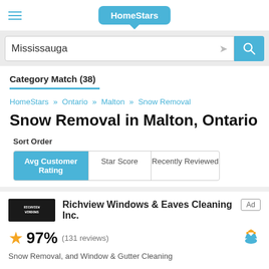HomeStars
Mississauga
Category Match (38)
HomeStars » Ontario » Malton » Snow Removal
Snow Removal in Malton, Ontario
Sort Order
Avg Customer Rating | Star Score | Recently Reviewed
Richview Windows & Eaves Cleaning Inc.
97%  (131 reviews)
Snow Removal, and Window & Gutter Cleaning